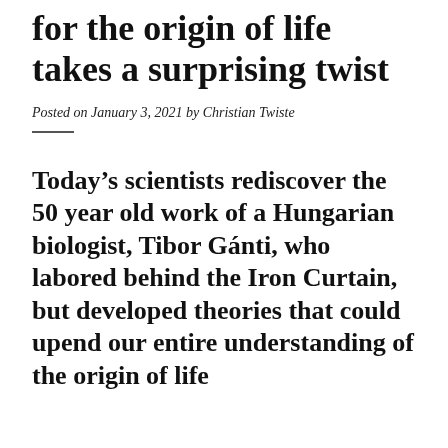for the origin of life takes a surprising twist
Posted on January 3, 2021 by Christian Twiste
Today's scientists rediscover the 50 year old work of a Hungarian biologist, Tibor Gánti, who labored behind the Iron Curtain, but developed theories that could upend our entire understanding of the origin of life